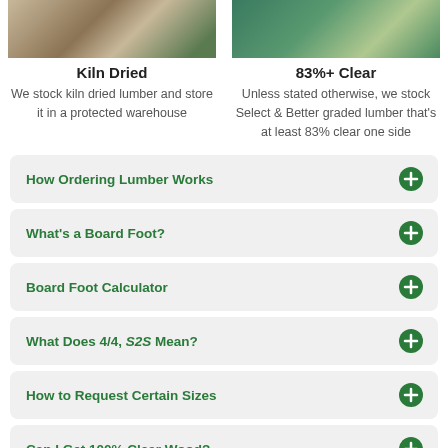[Figure (photo): Photo of kiln dried lumber in a warehouse]
Kiln Dried
We stock kiln dried lumber and store it in a protected warehouse
[Figure (photo): Photo of person in store with lumber]
83%+ Clear
Unless stated otherwise, we stock Select & Better graded lumber that's at least 83% clear one side
How Ordering Lumber Works
What's a Board Foot?
Board Foot Calculator
What Does 4/4, S2S Mean?
How to Request Certain Sizes
Can I Get 100% Clear Wood?